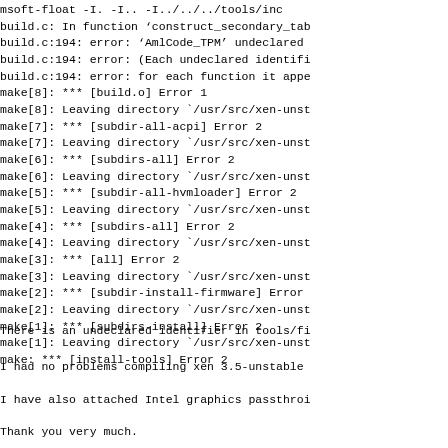msoft-float -I. -I.. -I../../../tools/inc
build.c: In function 'construct_secondary_tab
build.c:194: error: 'AmlCode_TPM' undeclared
build.c:194: error: (Each undeclared identifi
build.c:194: error: for each function it appe
make[8]: *** [build.o] Error 1
make[8]: Leaving directory `/usr/src/xen-unst
make[7]: *** [subdir-all-acpi] Error 2
make[7]: Leaving directory `/usr/src/xen-unst
make[6]: *** [subdirs-all] Error 2
make[6]: Leaving directory `/usr/src/xen-unst
make[5]: *** [subdir-all-hvmloader] Error 2
make[5]: Leaving directory `/usr/src/xen-unst
make[4]: *** [subdirs-all] Error 2
make[4]: Leaving directory `/usr/src/xen-unst
make[3]: *** [all] Error 2
make[3]: Leaving directory `/usr/src/xen-unst
make[2]: *** [subdir-install-firmware] Error
make[2]: Leaving directory `/usr/src/xen-unst
make[1]: *** [subdirs-install] Error 2
make[1]: Leaving directory `/usr/src/xen-unst
make: *** [install-tools] Error 2
There is an undeclared identifier in tools/fi
I had no problems compiling xen 3.5-unstable
I have also attached Intel graphics passthroi
Thank you very much.